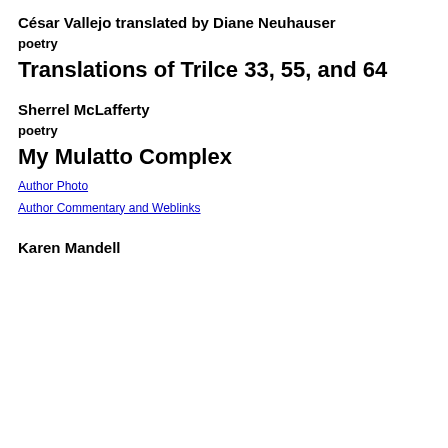César Vallejo translated by Diane Neuhauser
poetry
Translations of Trilce 33, 55, and 64
Sherrel McLafferty
poetry
My Mulatto Complex
Author Photo
Author Commentary and Weblinks
Karen Mandell